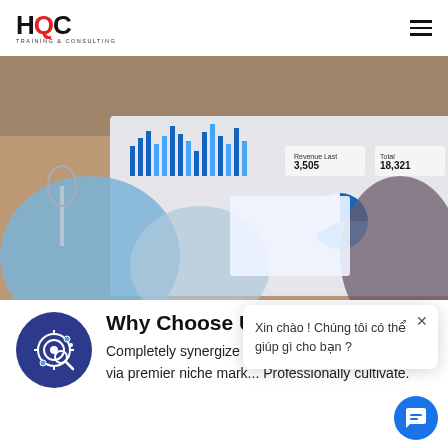HQC TRAINING & CONSULTING
[Figure (photo): Overhead view of business people at a table with financial charts and data reports, one person gesturing over the documents.]
Why Choose Us
Completely synergize resource taxing relationships via premier niche mar... Professionally cultivate.
Xin chào ! Chúng tôi có thể giúp gì cho bạn ?